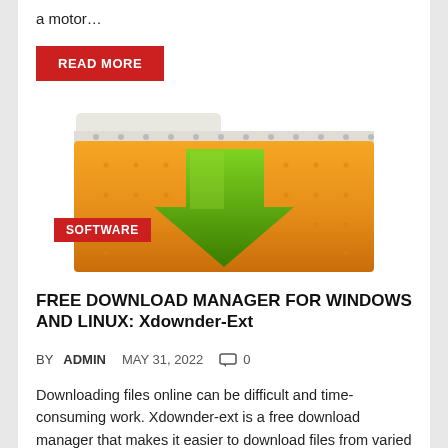a motor…
READ MORE
[Figure (illustration): Orange folder with a green downward arrow, representing a download manager. A red 'SOFTWARE' badge overlays the top-left corner.]
FREE DOWNLOAD MANAGER FOR WINDOWS AND LINUX: Xdownder-Ext
BY ADMIN   MAY 31, 2022   0
Downloading files online can be difficult and time-consuming work. Xdownder-ext is a free download manager that makes it easier to download files from varied sources. It allows users to move files